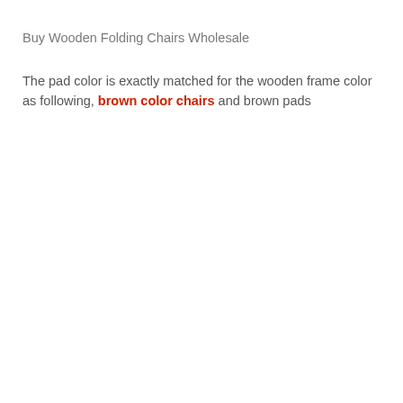Buy Wooden Folding Chairs Wholesale
The pad color is exactly matched for the wooden frame color as following, brown color chairs and brown pads